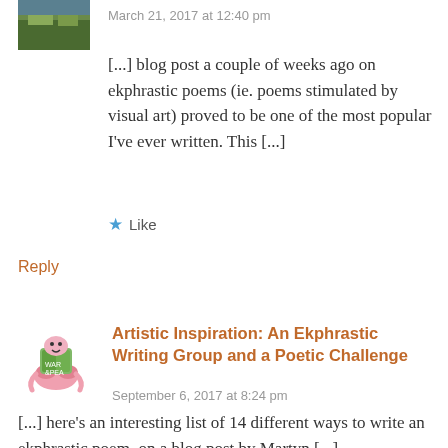[Figure (photo): Small avatar thumbnail showing a nature/outdoor photo]
March 21, 2017 at 12:40 pm
[...] blog post a couple of weeks ago on ekphrastic poems (ie. poems stimulated by visual art) proved to be one of the most popular I've ever written. This [...]
★ Like
Reply
[Figure (illustration): Small illustrated avatar showing a cartoon bookworm/caterpillar reading a book]
Artistic Inspiration: An Ekphrastic Writing Group and a Poetic Challenge
September 6, 2017 at 8:24 pm
[...] here's an interesting list of 14 different ways to write an ekphrastic poem, on a blog post by Martyn [...]